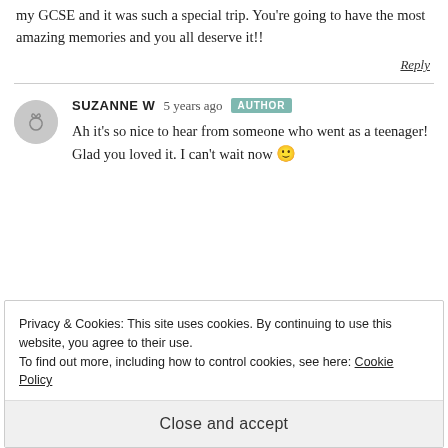my GCSE and it was such a special trip. You're going to have the most amazing memories and you all deserve it!!
Reply
SUZANNE W  5 years ago  AUTHOR
Ah it's so nice to hear from someone who went as a teenager! Glad you loved it. I can't wait now 🙂
Privacy & Cookies: This site uses cookies. By continuing to use this website, you agree to their use. To find out more, including how to control cookies, see here: Cookie Policy
Close and accept